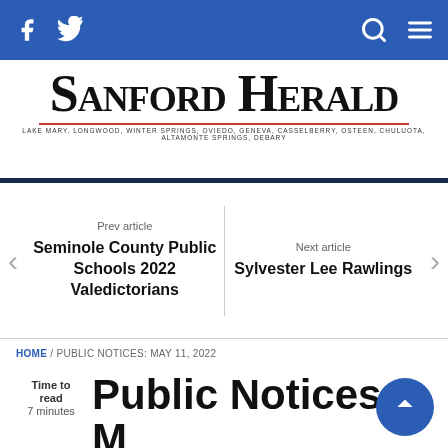Sanford Herald navigation bar with Facebook, Twitter, Search, and Menu icons
SANFORD HERALD
Lake Mary, Longwood, Winter Springs, Oviedo, Geneva, Casselberry, Osteen, Chuluota, Altamonte Springs, DeBary
Prev article
Seminole County Public Schools 2022 Valedictorians
Next article
Sylvester Lee Rawlings
HOME / PUBLIC NOTICES: MAY 11, 2022
Public Notices: May 11, 2022
Time to read 7 minutes